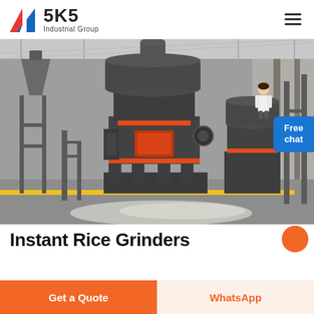SKS Industrial Group
[Figure (photo): Industrial grinding mill machines in a large factory warehouse. Multiple large dark cylindrical grinding mills with orange accents visible, set on metal frames with gravel on the floor. High ceiling industrial space with structural steel supports.]
Instant Rice Grinders
Free chat
Get a Quote
WhatsApp